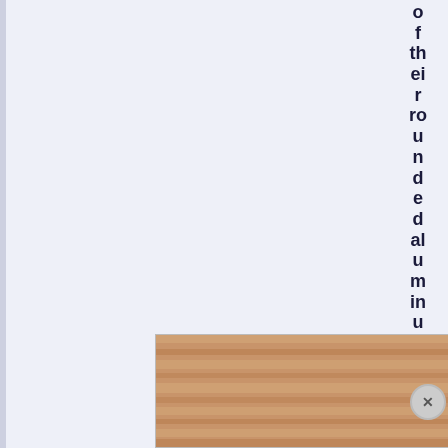of their rounded aluminium umbodies. This shape
[Figure (screenshot): Advertisement banner for a mobile game called 'Hold and Move' featuring blue cartoon character figures and a wooden board background, with help (?) and close (X) buttons.]